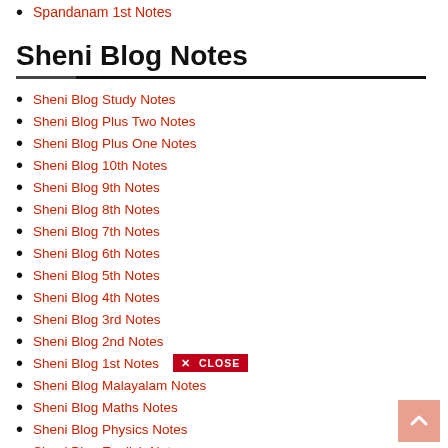Spandanam 1st Notes
Sheni Blog Notes
Sheni Blog Study Notes
Sheni Blog Plus Two Notes
Sheni Blog Plus One Notes
Sheni Blog 10th Notes
Sheni Blog 9th Notes
Sheni Blog 8th Notes
Sheni Blog 7th Notes
Sheni Blog 6th Notes
Sheni Blog 5th Notes
Sheni Blog 4th Notes
Sheni Blog 3rd Notes
Sheni Blog 2nd Notes
Sheni Blog 1st Notes
Sheni Blog Malayalam Notes
Sheni Blog Maths Notes
Sheni Blog Physics Notes
Sheni Blog English Notes
Sheni Blog Hindi Notes